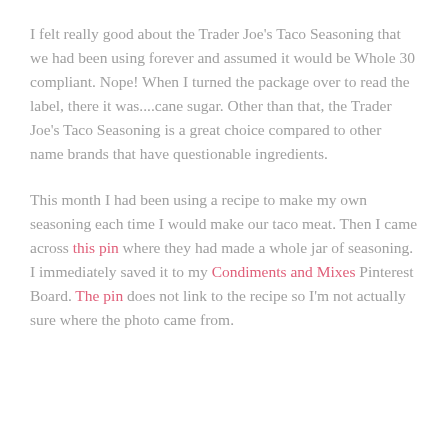I felt really good about the Trader Joe's Taco Seasoning that we had been using forever and assumed it would be Whole 30 compliant. Nope! When I turned the package over to read the label, there it was....cane sugar. Other than that, the Trader Joe's Taco Seasoning is a great choice compared to other name brands that have questionable ingredients.
This month I had been using a recipe to make my own seasoning each time I would make our taco meat. Then I came across this pin where they had made a whole jar of seasoning. I immediately saved it to my Condiments and Mixes Pinterest Board. The pin does not link to the recipe so I'm not actually sure where the photo came from.